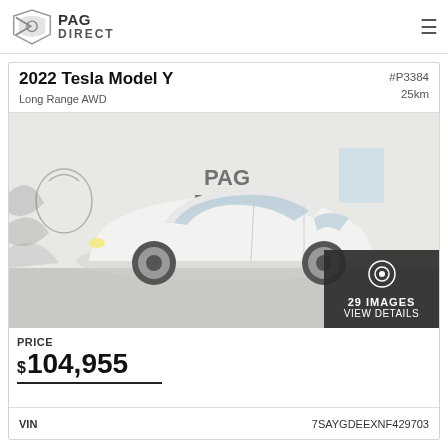PAG DIRECT
2022 Tesla Model Y
Long Range AWD
#P3384  25km
[Figure (photo): White 2022 Tesla Model Y photographed inside a showroom with PAG DIRECT branding on the wall. Overlay shows camera icon, '29 IMAGES', 'VIEW DETAILS'.]
PRICE
$104,955
VIN  7SAYGDEEXNF429703